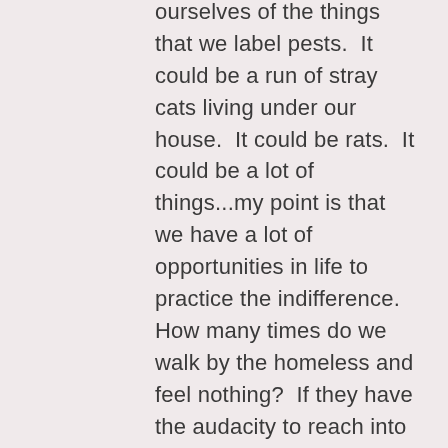ourselves of the things that we label pests.  It could be a run of stray cats living under our house.  It could be rats.  It could be a lot of things...my point is that we have a lot of opportunities in life to practice the indifference.  How many times do we walk by the homeless and feel nothing?  If they have the audacity to reach into our world and make a request, how do we respond?  Most of the time, most of us, hurriedly pass by.  Wishing for their existence to stop interfering in our great life.  Indifferencing got us there.
So it occurred to me the other day, are there ever times when that indifferencing does not occur in my...